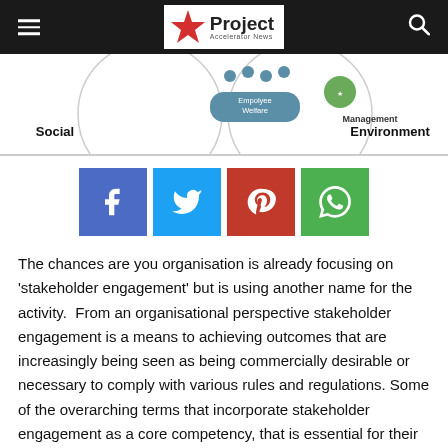Project Accelerator News
[Figure (infographic): Partial view of a circular Venn-style infographic showing overlapping circles labeled 'Empolyee Welfare', 'Management', with section labels 'Social' on the left and 'Environment' on the right]
[Figure (infographic): Row of four social sharing buttons: Facebook (blue), Twitter (cyan), Pinterest (red), WhatsApp (green)]
The chances are you organisation is already focusing on 'stakeholder engagement' but is using another name for the activity.  From an organisational perspective stakeholder engagement is a means to achieving outcomes that are increasingly being seen as being commercially desirable or necessary to comply with various rules and regulations. Some of the overarching terms that incorporate stakeholder engagement as a core competency, that is essential for their implementation are: